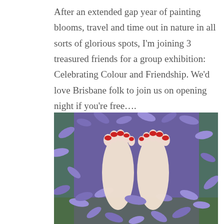After an extended gap year of painting blooms, travel and time out in nature in all sorts of glorious spots, I'm joining 3 treasured friends for a group exhibition: Celebrating Colour and Friendship. We'd love Brisbane folk to join us on opening night if you're free….
[Figure (photo): Bare feet with red toenail polish standing on purple jacaranda flowers fallen on grass, viewed from above.]